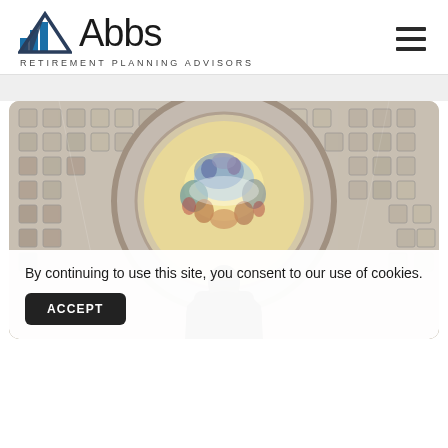[Figure (logo): Abbs Retirement Planning Advisors logo with blue mountain/bars icon and text 'Abbs' in large sans-serif, tagline 'RETIREMENT PLANNING ADVISORS' below]
[Figure (photo): Looking up at the interior dome of the US Capitol building, showing ornate coffered ceiling and colorful circular fresco painting at center, with dark statue silhouette at bottom]
By continuing to use this site, you consent to our use of cookies.
ACCEPT